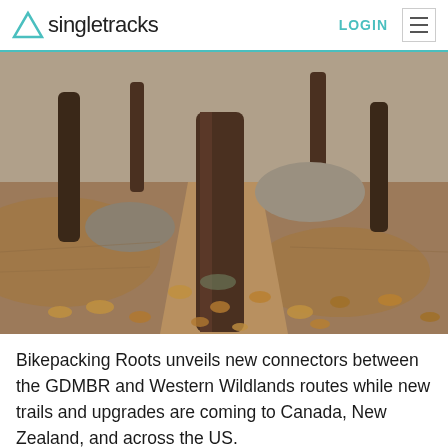Singletracks — LOGIN (navigation header)
[Figure (photo): Outdoor forest trail photo showing a dirt path splitting around a large tree trunk, with mounded dirt berms on either side and fallen leaves on the ground. Rocks and additional trees visible in the background.]
Bikepacking Roots unveils new connectors between the GDMBR and Western Wildlands routes while new trails and upgrades are coming to Canada, New Zealand, and across the US.